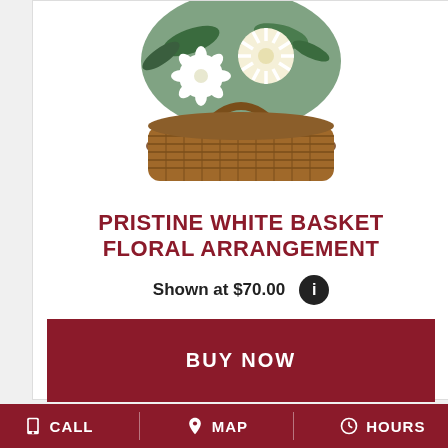[Figure (photo): White floral basket arrangement with white chrysanthemums and greenery in a woven brown basket, shown partially from above]
PRISTINE WHITE BASKET FLORAL ARRANGEMENT
Shown at $70.00
BUY NOW
[Figure (photo): Partial view of another floral arrangement, bottom of page]
CALL   MAP   HOURS